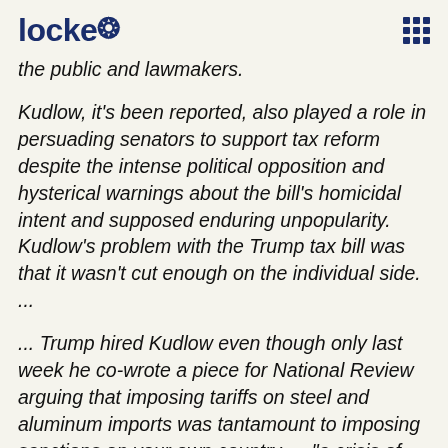locke
the public and lawmakers.
Kudlow, it's been reported, also played a role in persuading senators to support tax reform despite the intense political opposition and hysterical warnings about the bill's homicidal intent and supposed enduring unpopularity. Kudlow's problem with the Trump tax bill was that it wasn't cut enough on the individual side. ...
... Trump hired Kudlow even though only last week he co-wrote a piece for National Review arguing that imposing tariffs on steel and aluminum imports was tantamount to imposing sanctions on your own country — "a crisis of logic." Kudlow, a former White House budget aide